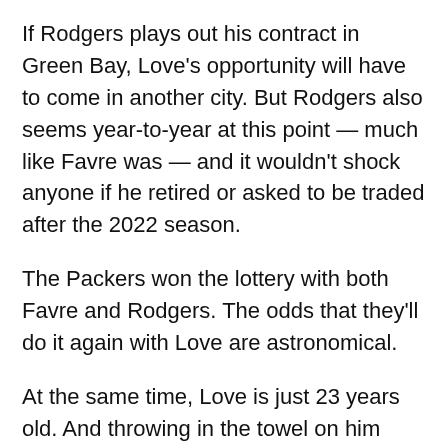If Rodgers plays out his contract in Green Bay, Love's opportunity will have to come in another city. But Rodgers also seems year-to-year at this point — much like Favre was — and it wouldn't shock anyone if he retired or asked to be traded after the 2022 season.
The Packers won the lottery with both Favre and Rodgers. The odds that they'll do it again with Love are astronomical.
At the same time, Love is just 23 years old. And throwing in the towel on him after two years would be foolish.
“I feel really good about his ability to grow, and he’s